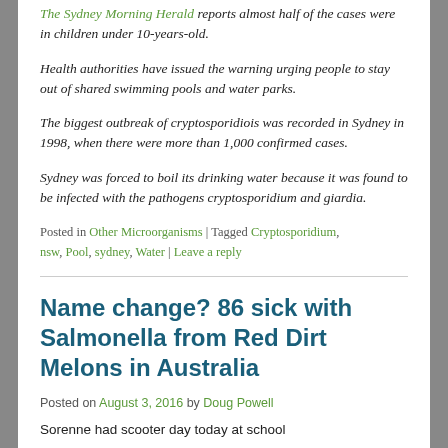The Sydney Morning Herald reports almost half of the cases were in children under 10-years-old.
Health authorities have issued the warning urging people to stay out of shared swimming pools and water parks.
The biggest outbreak of cryptosporidiois was recorded in Sydney in 1998, when there were more than 1,000 confirmed cases.
Sydney was forced to boil its drinking water because it was found to be infected with the pathogens cryptosporidium and giardia.
Posted in Other Microorganisms | Tagged Cryptosporidium, nsw, Pool, sydney, Water | Leave a reply
Name change? 86 sick with Salmonella from Red Dirt Melons in Australia
Posted on August 3, 2016 by Doug Powell
Sorenne had scooter day today at school